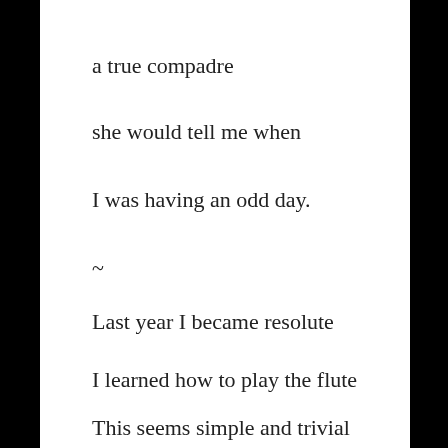a true compadre
she would tell me when
I was having an odd day.
~
Last year I became resolute
I learned how to play the flute
This seems simple and trivial